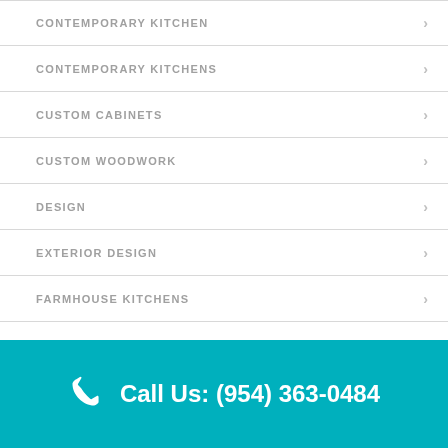CONTEMPORARY KITCHEN
CONTEMPORARY KITCHENS
CUSTOM CABINETS
CUSTOM WOODWORK
DESIGN
EXTERIOR DESIGN
FARMHOUSE KITCHENS
INTERIOR DESIGN
KITCHEN APPLIANCES
Call Us: (954) 363-0484